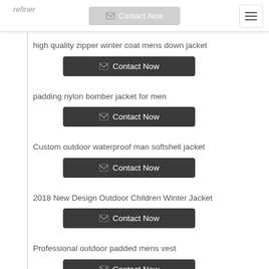refiner
high quality zipper winter coat mens down jacket
Contact Now
padding nylon bomber jacket for men
Contact Now
Custom outdoor waterproof man softshell jacket
Contact Now
2018 New Design Outdoor Children Winter Jacket
Contact Now
Professional outdoor padded mens vest
Contact Now